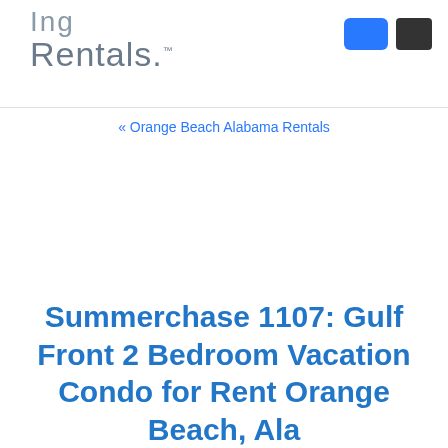Ing Rentals.
« Orange Beach Alabama Rentals
Summerchase 1107: Gulf Front 2 Bedroom Vacation Condo for Rent Orange Beach, Ala...